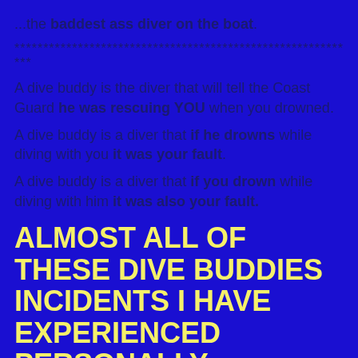...the baddest ass diver on the boat.
************************************************************
A dive buddy is the diver that will tell the Coast Guard he was rescuing YOU when you drowned.
A dive buddy is a diver that if he drowns while diving with you it was your fault.
A dive buddy is a diver that if you drown while diving with him it was also your fault.
ALMOST ALL OF THESE DIVE BUDDIES INCIDENTS I HAVE EXPERIENCED PERSONALLY.